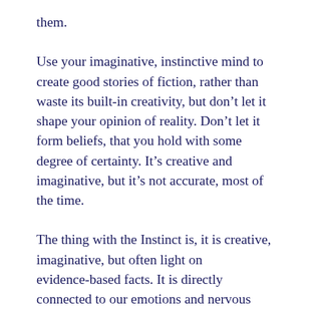them.
Use your imaginative, instinctive mind to create good stories of fiction, rather than waste its built-in creativity, but don’t let it shape your opinion of reality. Don’t let it form beliefs, that you hold with some degree of certainty. It’s creative and imaginative, but it’s not accurate, most of the time.
The thing with the Instinct is, it is creative, imaginative, but often light on evidence-based facts. It is directly connected to our emotions and nervous system, which means it is very persuasive in its storytelling, if we aren’t conscious of how and why it works.